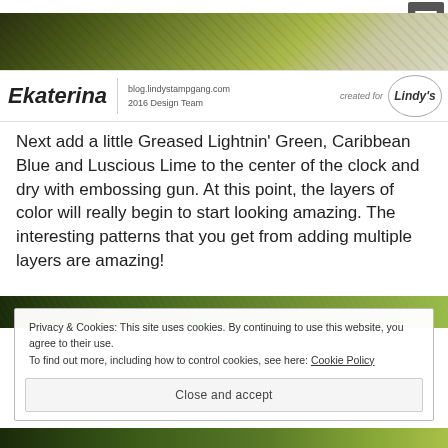[Figure (photo): Decorative banner image strip with green and earth tones]
Ekaterina | blog.lindystampgang.com | 2016 Design Team | created for Lindy's
Next add a little Greased Lightnin' Green, Caribbean Blue and Luscious Lime to the center of the clock and dry with embossing gun. At this point, the layers of color will really begin to start looking amazing. The interesting patterns that you get from adding multiple layers are amazing!
[Figure (photo): Partial photo of craft project with green tones]
Privacy & Cookies: This site uses cookies. By continuing to use this website, you agree to their use.
To find out more, including how to control cookies, see here: Cookie Policy
Close and accept